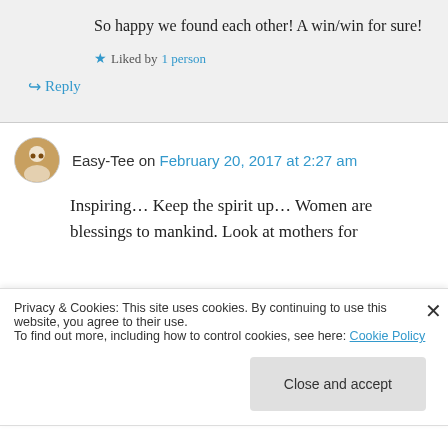So happy we found each other! A win/win for sure!
Liked by 1 person
Reply
Easy-Tee on February 20, 2017 at 2:27 am
Inspiring… Keep the spirit up… Women are blessings to mankind. Look at mothers for
Privacy & Cookies: This site uses cookies. By continuing to use this website, you agree to their use. To find out more, including how to control cookies, see here: Cookie Policy
Close and accept